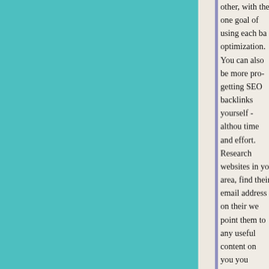other, with the one goal of using each ba optimization. You can also be more pro- getting SEO backlinks yourself - althou time and effort. Research websites in yo area, find their email address on their we point them to any useful content on you you suspect they might like to link to. M easier for yourself by creating blogs wit explanatory guides to your subject area engaging and useful. Why not run a con promote it on social media with the link website? Post on Twitter and link to you Create a webinar in your area of experti write an informative guest post on a site competitor in return for a do-follow link
Top 200 Free Dofollow Backlinks Sub List High da, pa backlinks highdabacklin dofollowbacklinks highdafreebacklinks fastcashloansonline. Top 200 Free Dofollow Backlinks Submi List High da, pa. backlinks, highdabackli dofollowbacklinks, highdafreebacklinks,